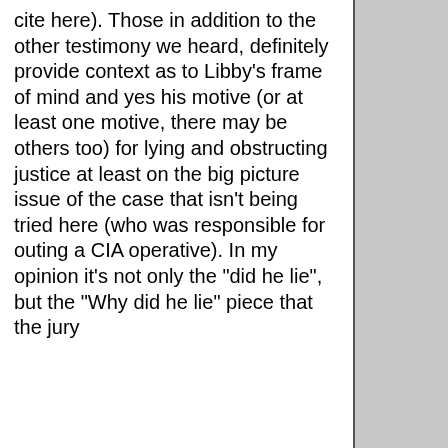cite here). Those in addition to the other testimony we heard, definitely provide context as to Libby's frame of mind and yes his motive (or at least one motive, there may be others too) for lying and obstructing justice at least on the big picture issue of the case that isn't being tried here (who was responsible for outing a CIA operative). In my opinion it's not only the "did he lie", but the "Why did he lie" piece that the jury